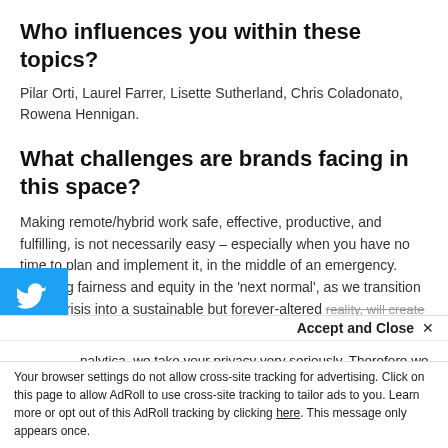Who influences you within these topics?
Pilar Orti, Laurel Farrer, Lisette Sutherland, Chris Coladonato, Rowena Hennigan.
What challenges are brands facing in this space?
Making remote/hybrid work safe, effective, productive, and fulfilling, is not necessarily easy – especially when you have no time to plan and implement it, in the middle of an emergency. ensuring fairness and equity in the 'next normal', as we transition out of crisis into a sustainable but forever-altered reality, will create many challenges for brands, as
nalytica, we take your privacy very seriously. Therefore we would like orm you what data we collect, as well as when and how we deal with personal information. To learn more, read our Privacy and Cookie Policy. If you have any questions, don't hesitate to contact us.
Accept and Close ×
Your browser settings do not allow cross-site tracking for advertising. Click on this page to allow AdRoll to use cross-site tracking to tailor ads to you. Learn more or opt out of this AdRoll tracking by clicking here. This message only appears once.